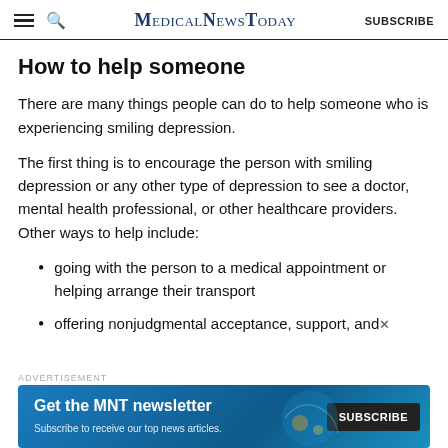MedicalNewsToday SUBSCRIBE
How to help someone
There are many things people can do to help someone who is experiencing smiling depression.
The first thing is to encourage the person with smiling depression or any other type of depression to see a doctor, mental health professional, or other healthcare providers. Other ways to help include:
going with the person to a medical appointment or helping arrange their transport
offering nonjudgmental acceptance, support, and